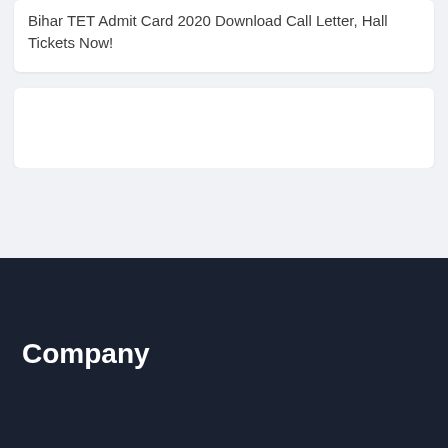Bihar TET Admit Card 2020 Download Call Letter, Hall Tickets Now!
Company